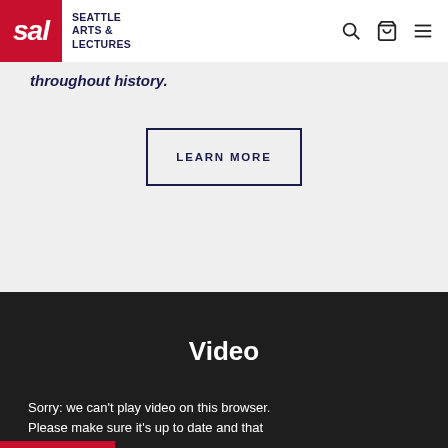SAL — Seattle Arts & Lectures
throughout history.
LEARN MORE
Video
Sorry: we can't play video on this browser. Please make sure it's up to date and that